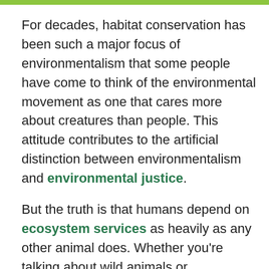For decades, habitat conservation has been such a major focus of environmentalism that some people have come to think of the environmental movement as one that cares more about creatures than people. This attitude contributes to the artificial distinction between environmentalism and environmental justice.
But the truth is that humans depend on ecosystem services as heavily as any other animal does. Whether you're talking about wild animals or